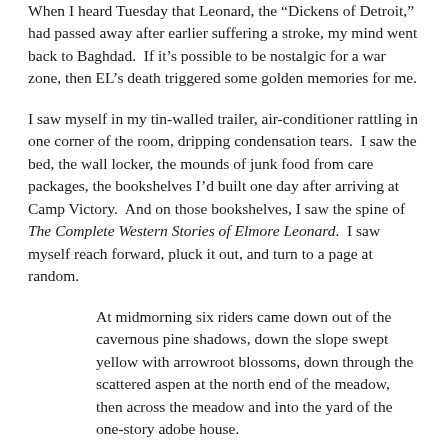When I heard Tuesday that Leonard, the "Dickens of Detroit," had passed away after earlier suffering a stroke, my mind went back to Baghdad.  If it's possible to be nostalgic for a war zone, then EL's death triggered some golden memories for me.
I saw myself in my tin-walled trailer, air-conditioner rattling in one corner of the room, dripping condensation tears.  I saw the bed, the wall locker, the mounds of junk food from care packages, the bookshelves I'd built one day after arriving at Camp Victory.  And on those bookshelves, I saw the spine of The Complete Western Stories of Elmore Leonard.  I saw myself reach forward, pluck it out, and turn to a page at random.
At midmorning six riders came down out of the cavernous pine shadows, down the slope swept yellow with arrowroot blossoms, down through the scattered aspen at the north end of the meadow, then across the meadow and into the yard of the one-story adobe house.
For nearly a month of my time in Iraq, I was lost in the